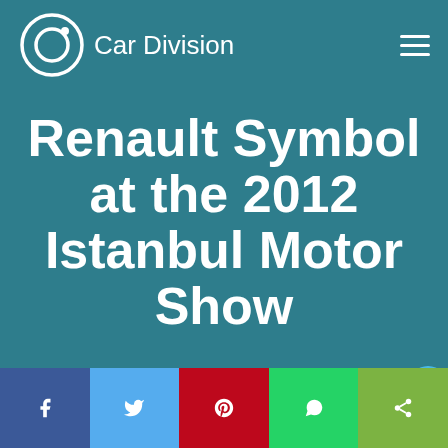Car Division
Renault Symbol at the 2012 Istanbul Motor Show
Social share bar: Facebook, Twitter, Pinterest, WhatsApp, Share